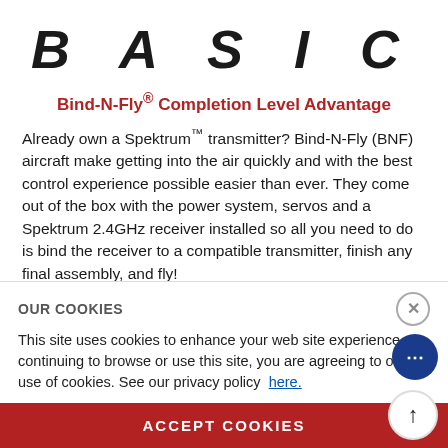BASIC
Bind-N-Fly® Completion Level Advantage
Already own a Spektrum™ transmitter? Bind-N-Fly (BNF) aircraft make getting into the air quickly and with the best control experience possible easier than ever. They come out of the box with the power system, servos and a Spektrum 2.4GHz receiver installed so all you need to do is bind the receiver to a compatible transmitter, finish any final assembly, and fly!
OUR COOKIES
This site uses cookies to enhance your web site experience. By continuing to browse or use this site, you are agreeing to our use of cookies. See our privacy policy here.
ACCEPT COOKIES